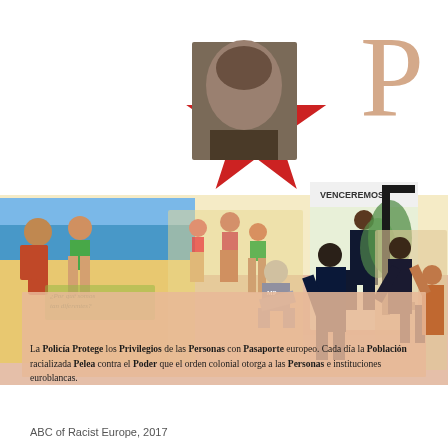[Figure (illustration): Collage artwork titled 'ABC of Racist Europe, 2017'. Features a large decorative letter P top right in salmon/beige. Center shows a red five-pointed star with a portrait photograph of a person overlaid. Left side shows a beach/vacation scene with figures in swimwear, with text overlay in Spanish. Center shows more beach scene figures and a police officer kneeling. Right area shows a 'VENCEREMOS' poster with a woman figure, and right edge shows illustrative figures fighting/struggling. Bottom has layered yellow and salmon colored background strips with Spanish text. Bottom text reads: 'La POLICÍA PROTEGE los PRIVILEGIOS de las PERSONAS con PASAPORTE europeo. Cada día la POBLACIÓN racializada PELEA contra el PODER que el orden colonial otorga a las PERSONAS e instituciones euroblancas.']
ABC of Racist Europe, 2017